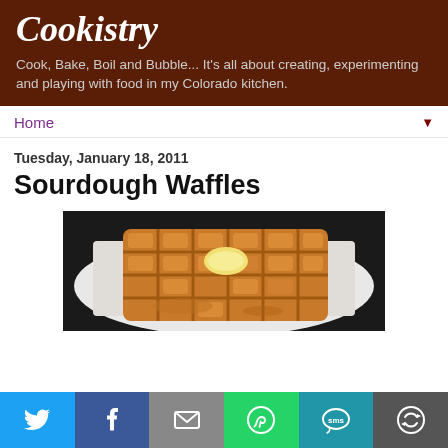Cookistry
Cook, Bake, Boil and Bubble... It's all about creating, experimenting and playing with food in my Colorado kitchen.
Home
Tuesday, January 18, 2011
Sourdough Waffles
[Figure (photo): A golden-brown square waffle topped with a pat of butter, served on a white plate with syrup, photographed from above at a slight angle.]
[Figure (infographic): Social sharing bar with icons for Twitter, Facebook, Email, WhatsApp, SMS, and More options.]